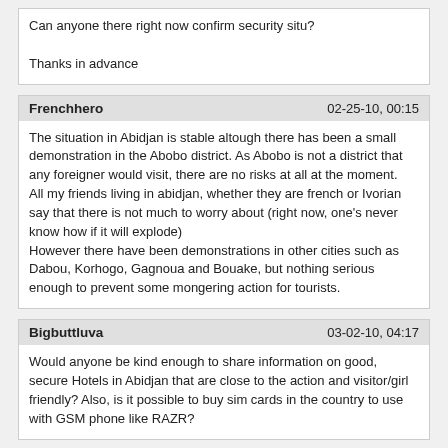Can anyone there right now confirm security situ?

Thanks in advance
Frenchhero | 02-25-10, 00:15
The situation in Abidjan is stable altough there has been a small demonstration in the Abobo district. As Abobo is not a district that any foreigner would visit, there are no risks at all at the moment.
All my friends living in abidjan, whether they are french or Ivorian say that there is not much to worry about (right now, one's never know how if it will explode)
However there have been demonstrations in other cities such as Dabou, Korhogo, Gagnoua and Bouake, but nothing serious enough to prevent some mongering action for tourists.
Bigbuttluva | 03-02-10, 04:17
Would anyone be kind enough to share information on good, secure Hotels in Abidjan that are close to the action and visitor/girl friendly? Also, is it possible to buy sim cards in the country to use with GSM phone like RAZR?
Stabilo Boss | 03-05-10, 17:15
19 yo / 175 cm / 45 kg

Streetwalker

5000 cfa

Attitute: propositive

Rate: 9/10